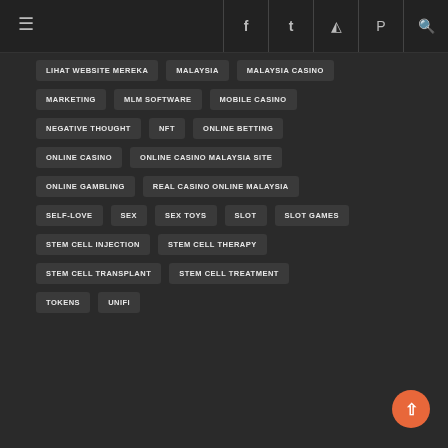Navigation header with hamburger menu and social icons
LIHAT WEBSITE MEREKA
MALAYSIA
MALAYSIA CASINO
MARKETING
MLM SOFTWARE
MOBILE CASINO
NEGATIVE THOUGHT
NFT
ONLINE BETTING
ONLINE CASINO
ONLINE CASINO MALAYSIA SITE
ONLINE GAMBLING
REAL CASINO ONLINE MALAYSIA
SELF-LOVE
SEX
SEX TOYS
SLOT
SLOT GAMES
STEM CELL INJECTION
STEM CELL THERAPY
STEM CELL TRANSPLANT
STEM CELL TREATMENT
TOKENS
UNIFI